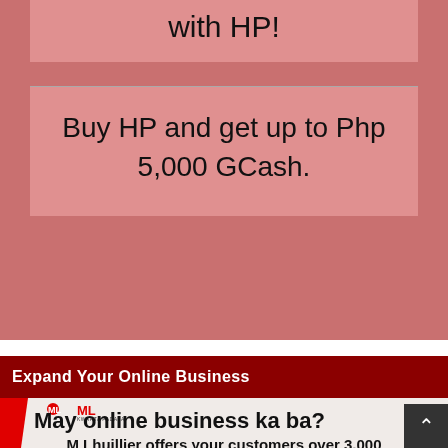with HP!
Buy HP and get up to Php 5,000 GCash.
Expand Your Online Business
[Figure (infographic): ML Kwarta Padala advertisement showing logo and text: 'May online business ka ba? M Lhuillier offers your customers over 3,000 payment centers']
May online business ka ba?
M Lhuillier offers your customers over 3,000 payment centers